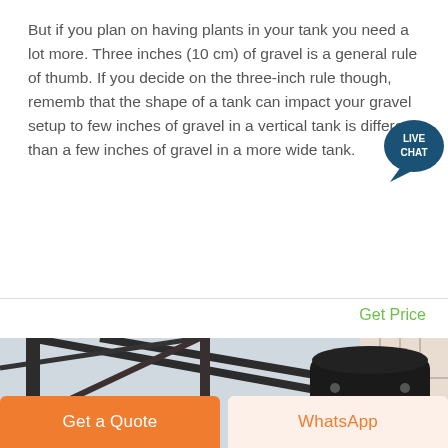But if you plan on having plants in your tank you need a lot more. Three inches (10 cm) of gravel is a general rule of thumb. If you decide on the three-inch rule though, remember that the shape of a tank can impact your gravel setup too. A few inches of gravel in a vertical tank is different than a few inches of gravel in a more wide tank.
Get Price
[Figure (photo): Industrial machine (possibly a crusher or grinder) mounted on a red base, photographed from below against a light sky, with a dark steel frame/structure visible around it and a corrugated wall on the right side.]
Get a Quote
WhatsApp